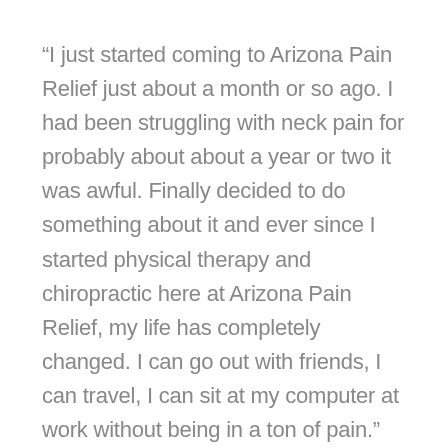“I just started coming to Arizona Pain Relief just about a month or so ago. I had been struggling with neck pain for probably about about a year or two it was awful. Finally decided to do something about it and ever since I started physical therapy and chiropractic here at Arizona Pain Relief, my life has completely changed. I can go out with friends, I can travel, I can sit at my computer at work without being in a ton of pain.”